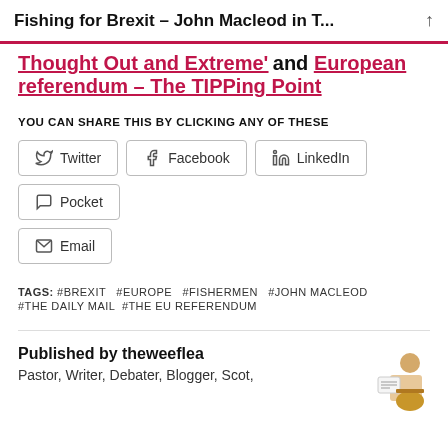Fishing for Brexit – John Macleod in T…
Thought Out and Extreme' and European referendum – The TIPPing Point
YOU CAN SHARE THIS BY CLICKING ANY OF THESE
Twitter
Facebook
LinkedIn
Pocket
Email
TAGS: #BREXIT #EUROPE #FISHERMEN #JOHN MACLEOD #THE DAILY MAIL #THE EU REFERENDUM
Published by theweeflea
Pastor, Writer, Debater, Blogger, Scot,